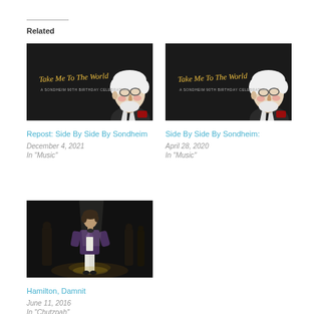Related
[Figure (photo): Thumbnail image for 'Repost: Side By Side By Sondheim' — dark background with illustrated face of elderly man and stylized text 'Take Me To The World']
Repost: Side By Side By Sondheim
December 4, 2021
In "Music"
[Figure (photo): Thumbnail image for 'Side By Side By Sondheim:' — dark background with illustrated face of elderly man and stylized text 'Take Me To The World']
Side By Side By Sondheim:
April 28, 2020
In "Music"
[Figure (photo): Thumbnail image for 'Hamilton, Damnit' — dark stage with performer in period costume under spotlight]
Hamilton, Damnit
June 11, 2016
In "Chutzpah"